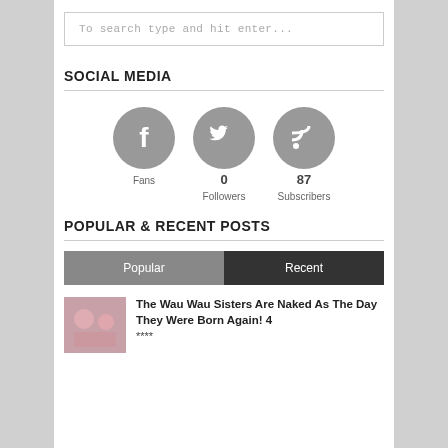To search type and hit enter...
SOCIAL MEDIA
[Figure (infographic): Three social media icons (Facebook, Twitter, RSS) as grey circles. Facebook shows 'Fans' below, Twitter shows '0 Followers', RSS shows '87 Subscribers'.]
POPULAR & RECENT POSTS
Popular | Recent (tab buttons)
The Wau Wau Sisters Are Naked As The Day They Were Born Again! 4 ****